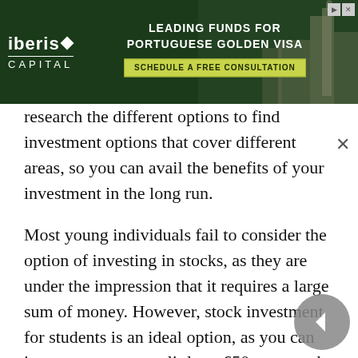[Figure (other): Advertisement banner for Iberis Capital: 'Leading Funds for Portuguese Golden Visa – Schedule a Free Consultation']
research the different options to find investment options that cover different areas, so you can avail the benefits of your investment in the long run.
Most young individuals fail to consider the option of investing in stocks, as they are under the impression that it requires a large sum of money. However, stock investment for students is an ideal option, as you can invest an amount as little as £50 per month with various online investment tools. The online platforms, such as Chelsea and Fidelity, allow you the opportunity to invest in a pre-selected investment portfolio. These platforms also